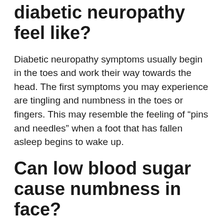diabetic neuropathy feel like?
Diabetic neuropathy symptoms usually begin in the toes and work their way towards the head. The first symptoms you may experience are tingling and numbness in the toes or fingers. This may resemble the feeling of “pins and needles” when a foot that has fallen asleep begins to wake up.
Can low blood sugar cause numbness in face?
Numbness or tingling in the face or hands may be symptoms of hypoglycemia. Sometimes the numbness is first noticed in